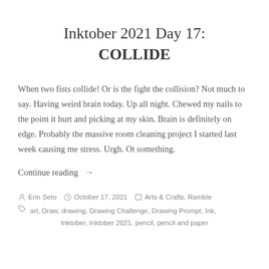Inktober 2021 Day 17: COLLIDE
When two fists collide! Or is the fight the collision? Not much to say. Having weird brain today. Up all night. Chewed my nails to the point it hurt and picking at my skin. Brain is definitely on edge. Probably the massive room cleaning project I started last week causing me stress. Urgh. Ot something.
Continue reading →
Erin Seto  October 17, 2021  Arts & Crafts, Ramble
art, Draw, drawing, Drawing Challenge, Drawing Prompt, Ink, Inktober, Inktober 2021, pencil, pencil and paper